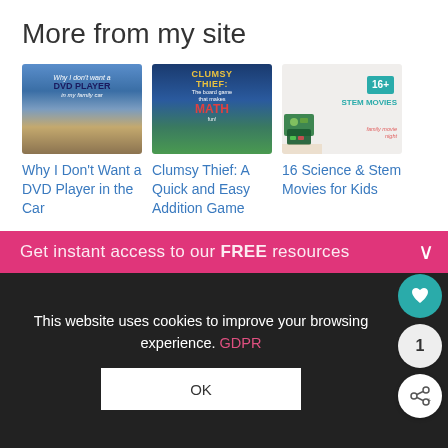More from my site
[Figure (photo): Thumbnail image: road stretching into distance with text 'Why I don't want a DVD Player in my family car']
Why I Don't Want a DVD Player in the Car
[Figure (photo): Thumbnail image: Clumsy Thief board game - The board game that makes MATH fun!]
Clumsy Thief: A Quick and Easy Addition Game
[Figure (photo): Thumbnail image: 16+ STEM Movies for family movie night with circuit board pieces]
16 Science & Stem Movies for Kids
Get instant access to our FREE resources
This website uses cookies to improve your browsing experience. GDPR
OK